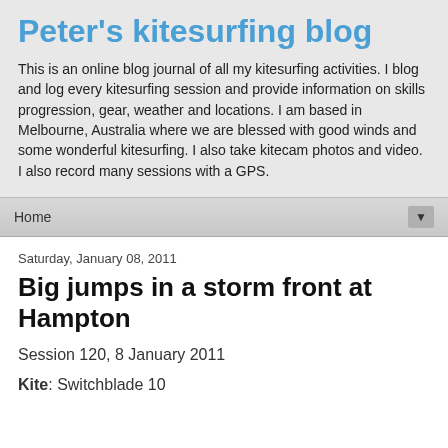Peter's kitesurfing blog
This is an online blog journal of all my kitesurfing activities. I blog and log every kitesurfing session and provide information on skills progression, gear, weather and locations. I am based in Melbourne, Australia where we are blessed with good winds and some wonderful kitesurfing. I also take kitecam photos and video. I also record many sessions with a GPS.
Home
Saturday, January 08, 2011
Big jumps in a storm front at Hampton
Session 120, 8 January 2011
Kite: Switchblade 10